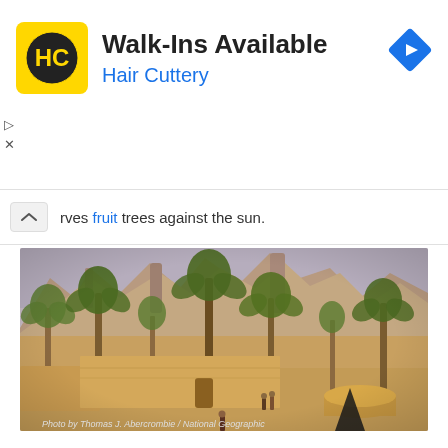[Figure (advertisement): Hair Cuttery advertisement banner. Yellow square logo with HC letters in black circle, bold text 'Walk-Ins Available', blue text 'Hair Cuttery', blue diamond navigation arrow icon on right.]
rves fruit trees against the sun.
[Figure (photo): Photograph of a desert oasis with tall palm trees in the foreground, sandy terrain, mud-brick walls and structures, and dramatic rocky cliff formations in the background under a hazy sky. Photo credit: Thomas J. Abercrombie / National Geographic]